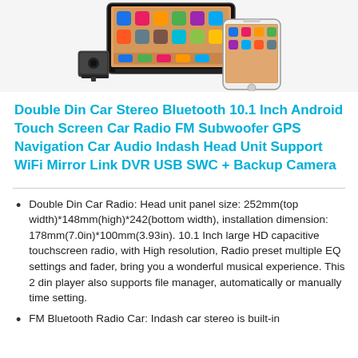[Figure (photo): Product photo showing a double din car stereo head unit with a large touchscreen displaying iOS app icons, a backup camera module, and a smartphone showing the same iOS home screen interface.]
Double Din Car Stereo Bluetooth 10.1 Inch Android Touch Screen Car Radio FM Subwoofer GPS Navigation Car Audio Indash Head Unit Support WiFi Mirror Link DVR USB SWC + Backup Camera
Double Din Car Radio: Head unit panel size: 252mm(top width)*148mm(high)*242(bottom width), installation dimension: 178mm(7.0in)*100mm(3.93in). 10.1 Inch large HD capacitive touchscreen radio, with High resolution, Radio preset multiple EQ settings and fader, bring you a wonderful musical experience. This 2 din player also supports file manager, automatically or manually time setting.
FM Bluetooth Radio Car: Indash car stereo is built-in